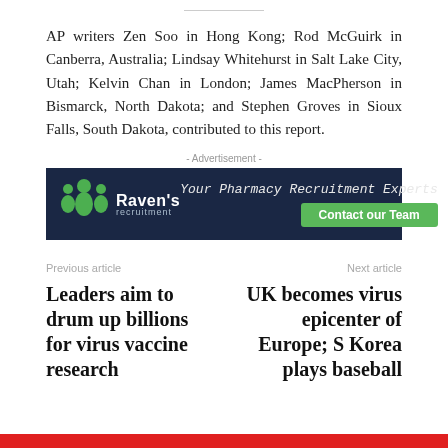AP writers Zen Soo in Hong Kong; Rod McGuirk in Canberra, Australia; Lindsay Whitehurst in Salt Lake City, Utah; Kelvin Chan in London; James MacPherson in Bismarck, North Dakota; and Stephen Groves in Sioux Falls, South Dakota, contributed to this report.
[Figure (other): Raven's Recruitment advertisement banner with dark navy background. Left side shows the Raven's Recruitment logo with green person icons and brand name. Right side shows tagline 'Your Pharmacy Recruitment Experts' and a green 'Contact our Team' button.]
Previous article
Next article
Leaders aim to drum up billions for virus vaccine research
UK becomes virus epicenter of Europe; S Korea plays baseball